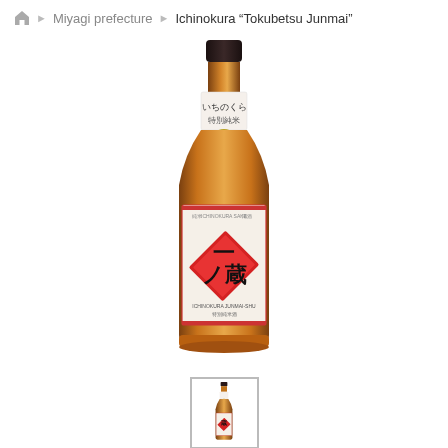Home ▶ Miyagi prefecture ▶ Ichinokura "Tokubetsu Junmai"
[Figure (photo): A large amber glass sake bottle with a black cap. The bottle has a white neck label with Japanese script, a teal/gold circular medallion seal, and a main white label featuring red diamond shapes and bold Japanese kanji characters for Ichinokura brand, with smaller red border lines at the top and bottom of the label.]
[Figure (photo): A small thumbnail image of the same Ichinokura sake bottle, shown inside a gray-bordered box.]